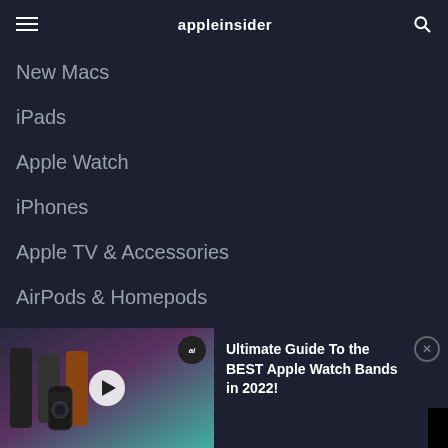appleinsider
New Macs
iPads
Apple Watch
iPhones
Apple TV & Accessories
AirPods & Homepods
iPhone & iPad Trade-in Prices
MORE
[Figure (screenshot): Promo banner with Apple Watch bands thumbnail, play button, and ai badge]
Ultimate Guide To the BEST Apple Watch Bands in 2022!